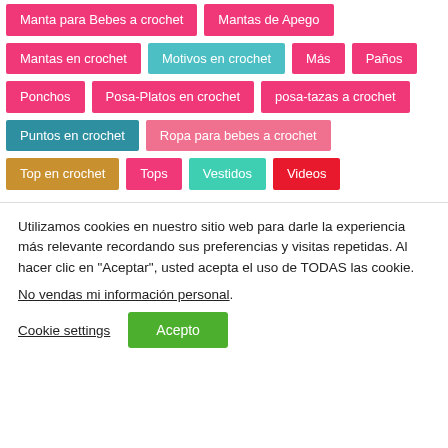Manta para Bebes a crochet
Mantas de Apego
Mantas en crochet
Motivos en crochet
Más
Paños
Ponchos
Posa-Platos en crochet
posa-tazas a crochet
Puntos en crochet
Ropa para bebes a crochet
Top en crochet
Tops
Vestidos
Videos
Utilizamos cookies en nuestro sitio web para darle la experiencia más relevante recordando sus preferencias y visitas repetidas. Al hacer clic en "Aceptar", usted acepta el uso de TODAS las cookie.
No vendas mi información personal.
Cookie settings
Acepto